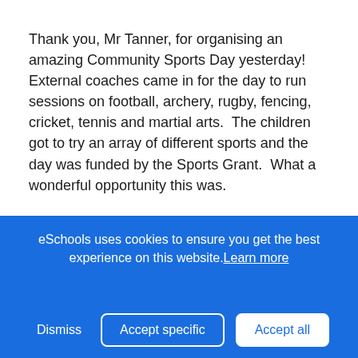Thank you, Mr Tanner, for organising an amazing Community Sports Day yesterday!  External coaches came in for the day to run sessions on football, archery, rugby, fencing, cricket, tennis and martial arts.  The children got to try an array of different sports and the day was funded by the Sports Grant.  What a wonderful opportunity this was.
[Figure (other): Carousel navigation arrows: left arrow button on the left side, right arrow button on the right side]
eSchools uses cookies to ensure you get the best experience on this website. Learn more